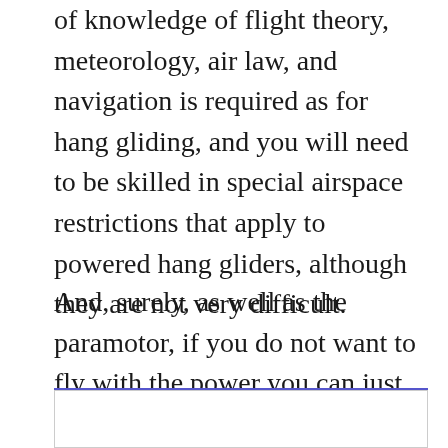of knowledge of flight theory, meteorology, air law, and navigation is required as for hang gliding, and you will need to be skilled in special airspace restrictions that apply to powered hang gliders, although they are not very difficult.
And, surely, as well as the paramotor, if you do not want to fly with the power you can just use a conventional harness. It’s totally fun!